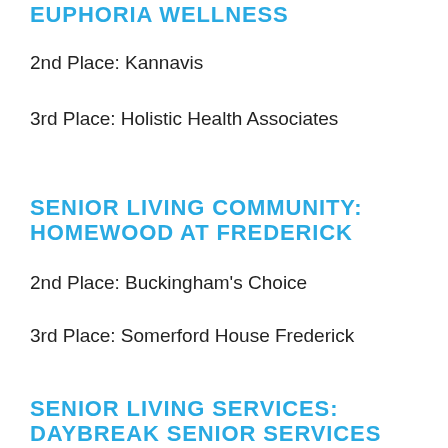EUPHORIA WELLNESS
2nd Place: Kannavis
3rd Place: Holistic Health Associates
SENIOR LIVING COMMUNITY: HOMEWOOD AT FREDERICK
2nd Place: Buckingham's Choice
3rd Place: Somerford House Frederick
SENIOR LIVING SERVICES: DAYBREAK SENIOR SERVICES